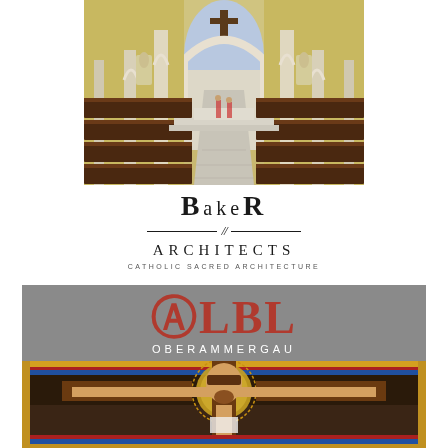[Figure (photo): Interior of a Catholic church showing wooden pews arranged in rows along a central aisle leading to an altar. The walls are yellow/cream colored with white architectural columns and arches. A cross is visible above the altar. The floor has light-colored stone tiles.]
[Figure (logo): Baker Architects logo. The word BAKER in large serif bold letters with mixed case (BaKeR style). Below is a horizontal divider line with two forward slashes in the center. Below that ARCHITECTS in spaced serif letters. Below that the tagline CATHOLIC SACRED ARCHITECTURE in small spaced sans-serif letters.]
[Figure (logo): ALBL Oberammergau branding on a gray background. Large decorative red/brown letters spelling ALBL (with a stylized R-like A at the start). Below the letters: OBERAMMERGAU in spaced white capital letters. Below that is a darker section showing part of an ornate crucifix with mosaic-style decorations and a figure of Jesus Christ.]